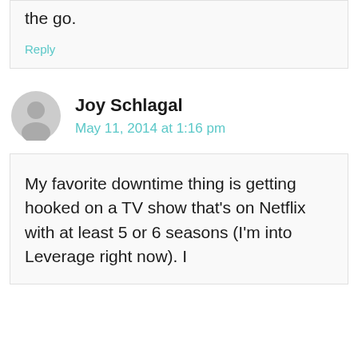the go.
Reply
Joy Schlagal
May 11, 2014 at 1:16 pm
My favorite downtime thing is getting hooked on a TV show that's on Netflix with at least 5 or 6 seasons (I'm into Leverage right now). I